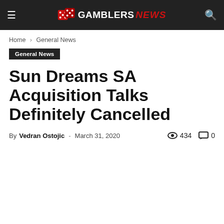GAMBLERS NEWS
Home › General News
General News
Sun Dreams SA Acquisition Talks Definitely Cancelled
By Vedran Ostojic - March 31, 2020  434  0